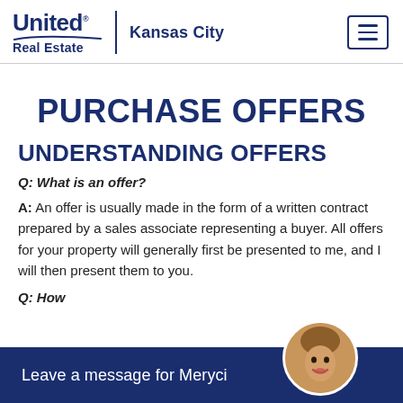United Real Estate | Kansas City
PURCHASE OFFERS
UNDERSTANDING OFFERS
Q: What is an offer?
A: An offer is usually made in the form of a written contract prepared by a sales associate representing a buyer. All offers for your property will generally first be presented to me, and I will then present them to you.
Q: How
Leave a message for Meryci